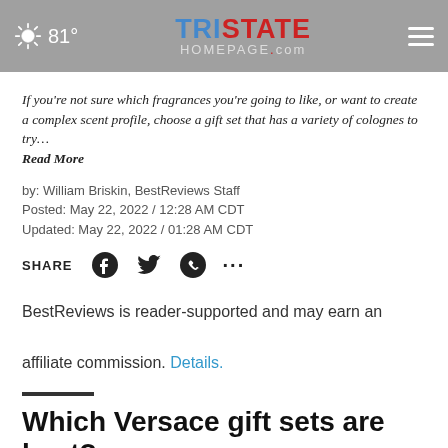81° Tristate Homepage.com
If you're not sure which fragrances you're going to like, or want to create a complex scent profile, choose a gift set that has a variety of colognes to try… Read More
by: William Briskin, BestReviews Staff
Posted: May 22, 2022 / 12:28 AM CDT
Updated: May 22, 2022 / 01:28 AM CDT
SHARE
BestReviews is reader-supported and may earn an affiliate commission. Details.
Which Versace gift sets are best?